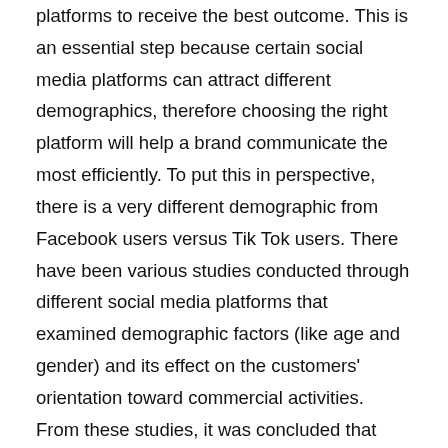platforms to receive the best outcome. This is an essential step because certain social media platforms can attract different demographics, therefore choosing the right platform will help a brand communicate the most efficiently. To put this in perspective, there is a very different demographic from Facebook users versus Tik Tok users. There have been various studies conducted through different social media platforms that examined demographic factors (like age and gender) and its effect on the customers' orientation toward commercial activities. From these studies, it was concluded that women are more likely to have a favorable attitude toward an ad on Facebook. It was also understood that women used Facebook and Twitter as their main source of information in regards to their purchasing behavior. Additionally, younger people, whose ages range between